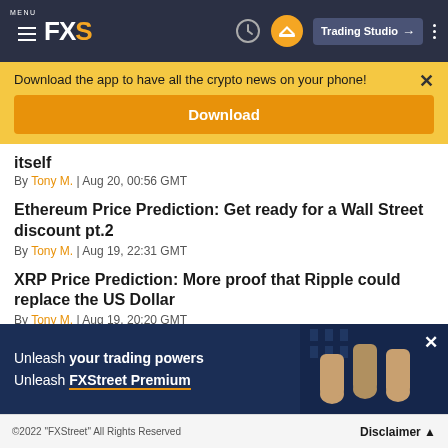MENU FXS | Trading Studio
Download the app to have all the crypto news on your phone!
Download
itself
By Tony M. | Aug 20, 00:56 GMT
Ethereum Price Prediction: Get ready for a Wall Street discount pt.2
By Tony M. | Aug 19, 22:31 GMT
XRP Price Prediction: More proof that Ripple could replace the US Dollar
By Tony M. | Aug 19, 20:20 GMT
[Figure (screenshot): Ad banner: Unleash your trading powers Unleash FXStreet Premium with fists raised image]
©2022 "FXStreet" All Rights Reserved | Disclaimer